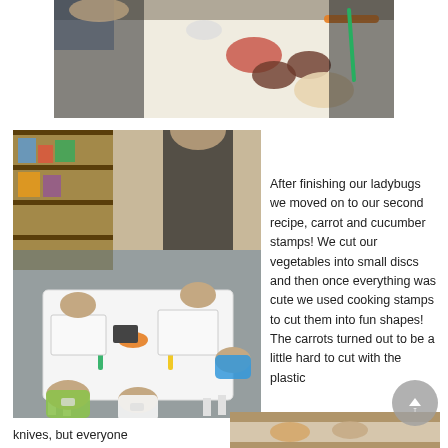[Figure (photo): Overhead view of children and adult at a white table with bowls of food and vegetables including carrots]
[Figure (photo): Children sitting around a white table in a classroom cutting vegetables with an adult standing nearby; blue tarp on floor]
After finishing our ladybugs we moved on to our second recipe, carrot and cucumber stamps! We cut our vegetables into small discs and then once everything was cute we used cooking stamps to cut them into fun shapes! The carrots turned out to be a little hard to cut with the plastic
knives, but everyone
[Figure (photo): Partial view of children cooking activity]